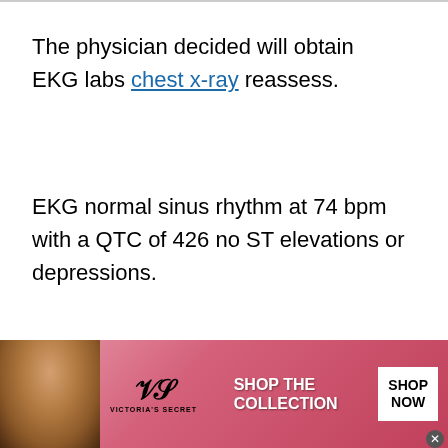The physician decided will obtain EKG labs chest x-ray reassess.
EKG normal sinus rhythm at 74 bpm with a QTC of 426 no ST elevations or depressions.
Example 6
[Figure (other): Victoria's Secret advertisement banner at the bottom of the page, with a photo of a woman, VS logo, 'SHOP THE COLLECTION' text, and 'SHOP NOW' button on pink/red gradient background.]